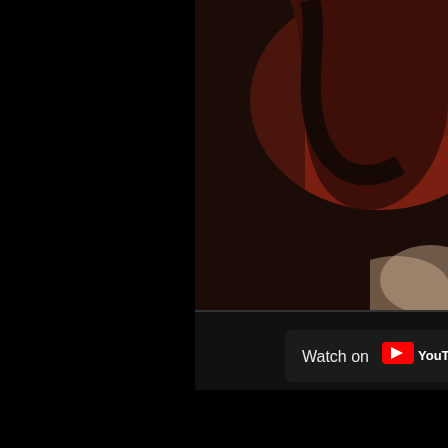[Figure (screenshot): YouTube video thumbnail screenshot showing a dark scene with red/brown and black graphic elements in upper right. A 'Watch on YouTube' button overlay is visible in the center-right. Below is a channel icon (circular image of Jesus/religious figure) with text 'Just Thoughts The book o' partially visible. At the bottom right, large bold green text reads 'JUST' (partially cut off). Left half of image is black.]